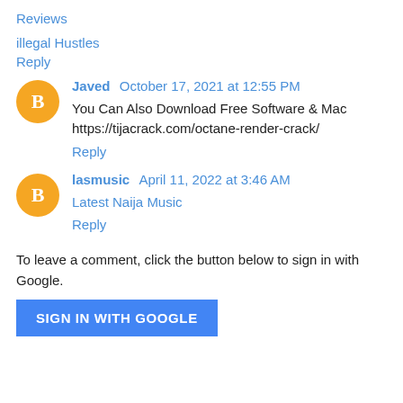Reviews
illegal Hustles
Reply
Javed  October 17, 2021 at 12:55 PM
You Can Also Download Free Software & Mac https://tijacrack.com/octane-render-crack/
Reply
lasmusic  April 11, 2022 at 3:46 AM
Latest Naija Music
Reply
To leave a comment, click the button below to sign in with Google.
SIGN IN WITH GOOGLE